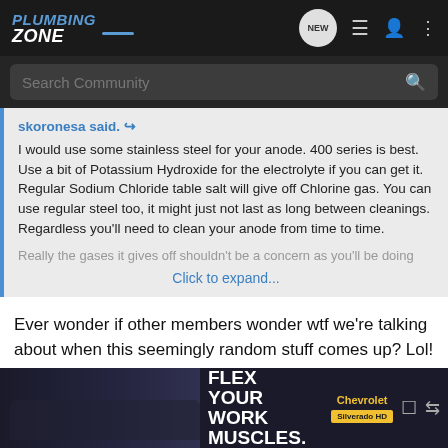Plumbing Zone - navigation bar with Search Community
skoronesa said. ↩
I would use some stainless steel for your anode. 400 series is best. Use a bit of Potassium Hydroxide for the electrolyte if you can get it. Regular Sodium Chloride table salt will give off Chlorine gas. You can use regular steel too, it might just not last as long between cleanings. Regardless you'll need to clean your anode from time to time.
Really the gases it gives off shouldn't be a concern as you'll be doing
Click to expand...
Ever wonder if other members wonder wtf we're talking about when this seemingly random stuff comes up? Lol!
What I've read is 12v manual charger set on trickle.
skoro
[Figure (screenshot): Chevrolet Silverado HD advertisement banner - FLEX YOUR WORK MUSCLES. Available Multi-Flex Tailgate.]